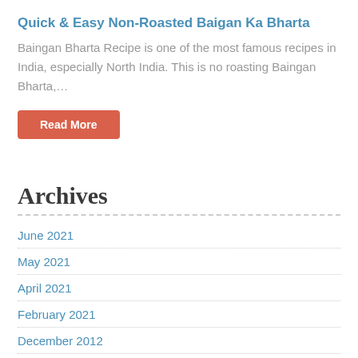Quick & Easy Non-Roasted Baigan Ka Bharta
Baingan Bharta Recipe is one of the most famous recipes in India, especially North India. This is no roasting Baingan Bharta,…
Read More
Archives
June 2021
May 2021
April 2021
February 2021
December 2012
November 2012
October 2012